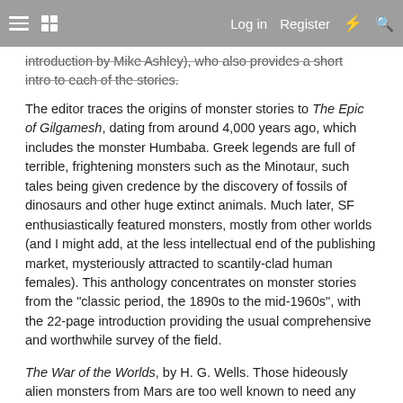Log in  Register
introduction by Mike Ashley), who also provides a short intro to each of the stories.
The editor traces the origins of monster stories to The Epic of Gilgamesh, dating from around 4,000 years ago, which includes the monster Humbaba. Greek legends are full of terrible, frightening monsters such as the Minotaur, such tales being given credence by the discovery of fossils of dinosaurs and other huge extinct animals. Much later, SF enthusiastically featured monsters, mostly from other worlds (and I might add, at the less intellectual end of the publishing market, mysteriously attracted to scantily-clad human females). This anthology concentrates on monster stories from the "classic period, the 1890s to the mid-1960s", with the 22-page introduction providing the usual comprehensive and worthwhile survey of the field.
The War of the Worlds, by H. G. Wells. Those hideously alien monsters from Mars are too well known to need any introduction, but this particular version of the story is of